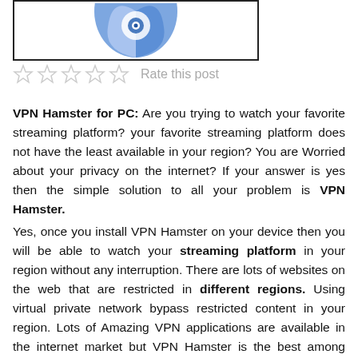[Figure (logo): VPN Hamster logo — a blue heart/teardrop shape with a circular icon in the center, partially cropped at top]
Rate this post
VPN Hamster for PC: Are you trying to watch your favorite streaming platform? your favorite streaming platform does not have the least available in your region? You are Worried about your privacy on the internet? If your answer is yes then the simple solution to all your problem is VPN Hamster.
Yes, once you install VPN Hamster on your device then you will be able to watch your streaming platform in your region without any interruption. There are lots of websites on the web that are restricted in different regions. Using virtual private network bypass restricted content in your region. Lots of Amazing VPN applications are available in the internet market but VPN Hamster is the best among them.